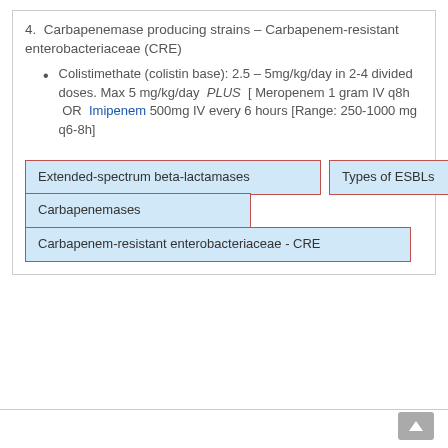4.  Carbapenemase producing strains – Carbapenem-resistant enterobacteriaceae (CRE)
Colistimethate (colistin base): 2.5 – 5mg/kg/day in 2-4 divided doses. Max 5 mg/kg/day  PLUS  [ Meropenem 1 gram IV q8h  OR  Imipenem 500mg IV every 6 hours [Range: 250-1000 mg q6-8h]
[Figure (other): Navigation link boxes: 'Extended-spectrum beta-lactamases', 'Types of ESBLs', 'Carbapenemases', 'Carbapenem-resistant enterobacteriaceae - CRE']